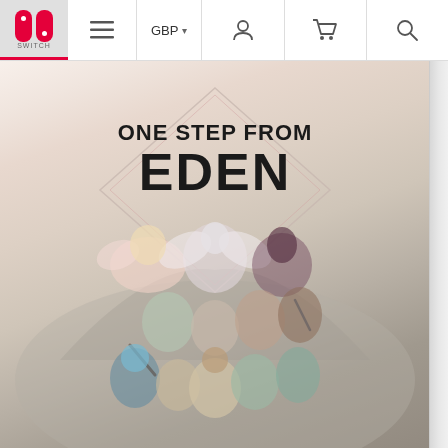Nintendo Switch store navigation bar with logo, GBP currency selector, user icon, cart icon, and search icon
[Figure (photo): Nintendo Switch game case for 'One Step From Eden' showing anime-style illustration of multiple characters. Title text reads 'ONE STEP FROM EDEN' in bold black letters with a diamond/rhombus outline design. Characters include various anime-style heroes and fighters. The game case has a gray spine on the right side.]